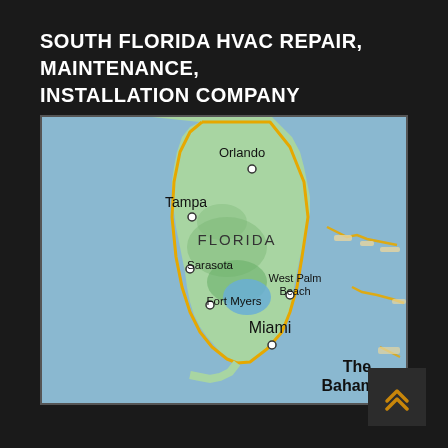SOUTH FLORIDA HVAC REPAIR, MAINTENANCE, INSTALLATION COMPANY
[Figure (map): Google Maps style map showing the state of Florida with labeled cities: Orlando, Tampa, Sarasota, Fort Myers, West Palm Beach, Miami, and The Bahamas to the east. A yellow border outlines a service region in southern Florida. The map shows the Florida peninsula in green over blue water.]